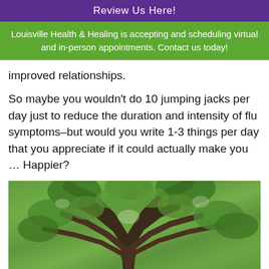Review Us Here!
Louisville Health & Healing is accepting and scheduling virtual and in-person appointments. Contact us today!
improved relationships.
So maybe you wouldn't do 10 jumping jacks per day just to reduce the duration and intensity of flu symptoms–but would you write 1-3 things per day that you appreciate if it could actually make you … Happier?
[Figure (photo): Looking up through tree branches with green foliage canopy, upward perspective view of tall trees]